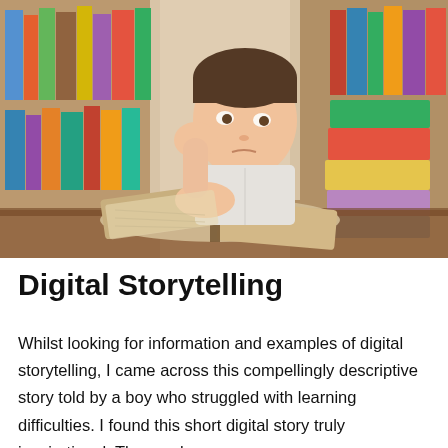[Figure (photo): A young boy leaning on an open book, resting his head on his hand with a bored or frustrated expression, surrounded by stacks of colorful books on a table in what appears to be a library or bookshelf background.]
Digital Storytelling
Whilst looking for information and examples of digital storytelling, I came across this compellingly descriptive story told by a boy who struggled with learning difficulties. I found this short digital story truly inspirational. The words